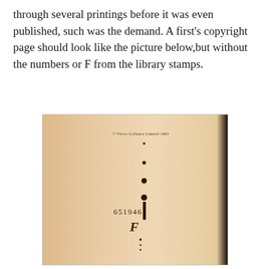through several printings before it was even published, such was the demand. A first's copyright page should look like the picture below,but without the numbers or F from the library stamps.
[Figure (photo): A photograph of a book's copyright page showing tan/beige paper, with small text reading '© Victor Gollancz Limited 1963' near the top, a library accession number '651946' and letter 'F' stamped in the lower center, and a dark spine visible on the right edge.]